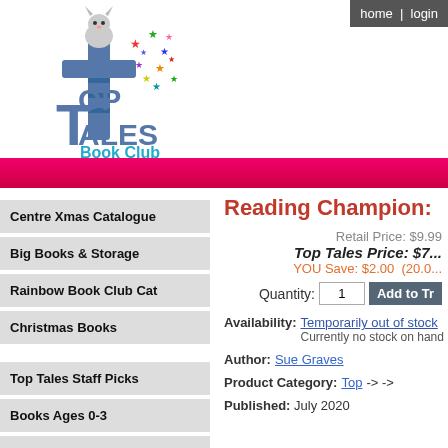home | login
[Figure (logo): Top Tales Book Club logo with cat on a book and colorful stars]
Reading Champion:
Retail Price: $9.99
Top Tales Price: $7...
YOU Save: $2.00 (20.0...
Quantity: 1   Add to Tr...
Availability: Temporarily out of stock
Currently no stock on hand
Author: Sue Graves
Product Category: Top -> ->
Published: July 2020
Centre Xmas Catalogue
Big Books & Storage
Rainbow Book Club Cat
Christmas Books
Top Tales Staff Picks
Books Ages 0-3
Books Ages 3-6